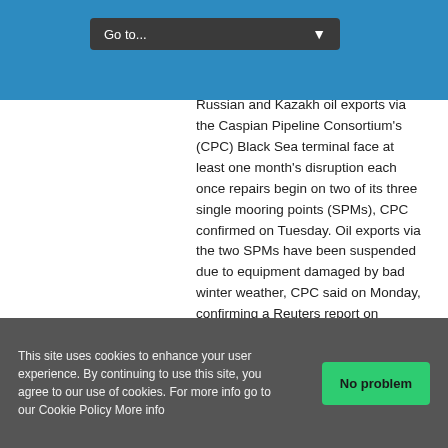Go to...
Russian and Kazakh oil exports via the Caspian Pipeline Consortium's (CPC) Black Sea terminal face at least one month's disruption each once repairs begin on two of its three single mooring points (SPMs), CPC confirmed on Tuesday. Oil exports via the two SPMs have been suspended due to equipment damaged by bad winter weather, CPC said on Monday, confirming a Reuters report on Saturday. read more CPC added that a planned inspection of the third SPM at the Yuzhnaya Ozereyevka terminal would require it to be temporarily shut for a ...
Read More »
This site uses cookies to enhance your user experience. By continuing to use this site, you agree to our use of cookies. For more info go to our Cookie Policy More info
No problem